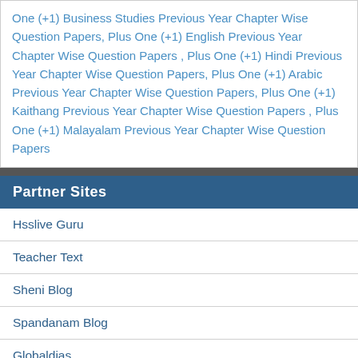One (+1) Business Studies Previous Year Chapter Wise Question Papers, Plus One (+1) English Previous Year Chapter Wise Question Papers , Plus One (+1) Hindi Previous Year Chapter Wise Question Papers, Plus One (+1) Arabic Previous Year Chapter Wise Question Papers, Plus One (+1) Kaithang Previous Year Chapter Wise Question Papers , Plus One (+1) Malayalam Previous Year Chapter Wise Question Papers
Partner Sites
Hsslive Guru
Teacher Text
Sheni Blog
Spandanam Blog
Globaldias
LMSTULL
Online Teer Result
News24bg.com
Saline Service